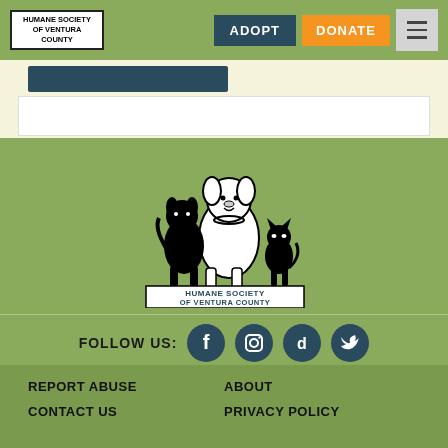HUMANE SOCIETY OF VENTURA COUNTY | ADOPT | DONATE
[Figure (logo): Humane Society of Ventura County logo with animals (dog, cat, small dog) and text banner]
FOLLOW US:
REPORT ABUSE
ABOUT
CONTACT US
PRIVACY POLICY